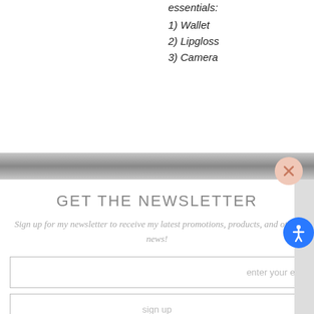essentials:
1) Wallet
2) Lipgloss
3) Camera
GET THE NEWSLETTER
Sign up for my newsletter to receive my latest promotions, products, and other news!
enter your e
sign up